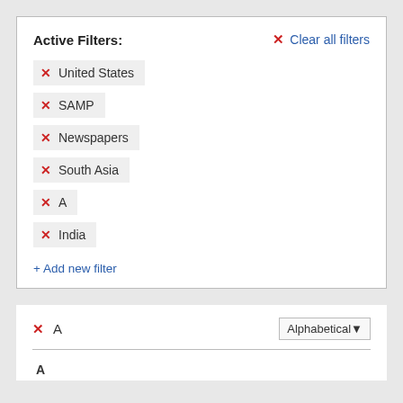Active Filters:
✕ United States
✕ SAMP
✕ Newspapers
✕ South Asia
✕ A
✕ India
+ Add new filter
✕ A   Alphabetical▾
A